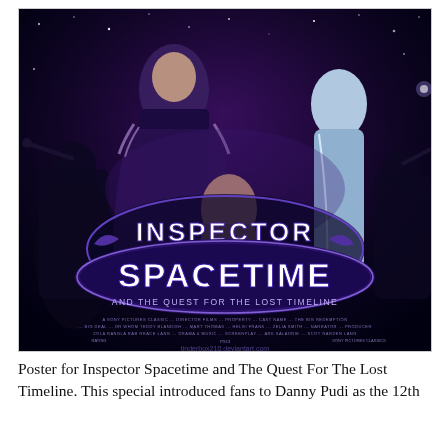[Figure (photo): Movie poster for 'Inspector Spacetime and The Quest For The Lost Timeline'. Dark space-themed background with characters in sci-fi costumes. Large decorative title text reads 'INSPECTOR SPACETIME AND THE QUEST FOR THE LOST TIMELINE'. Watermark: tinderbox210.deviantart.com]
Poster for Inspector Spacetime and The Quest For The Lost Timeline. This special introduced fans to Danny Pudi as the 12th